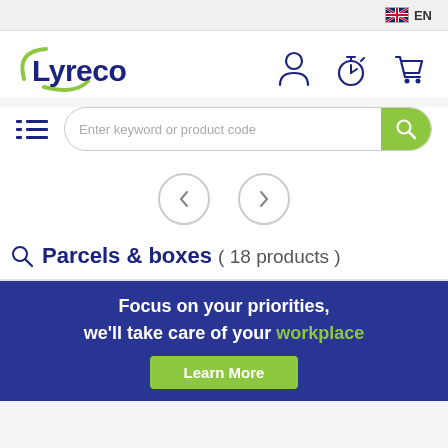[Figure (screenshot): Top bar with UK flag and EN language selector]
[Figure (logo): Lyreco logo with green swoosh]
[Figure (screenshot): Navigation icons: user, stopwatch, cart]
[Figure (screenshot): Hamburger menu icon and search bar with search button]
[Figure (screenshot): Carousel navigation with left and right arrow buttons]
Parcels & boxes ( 18 products )
Focus on your priorities, we'll take care of your workplace
Learn More